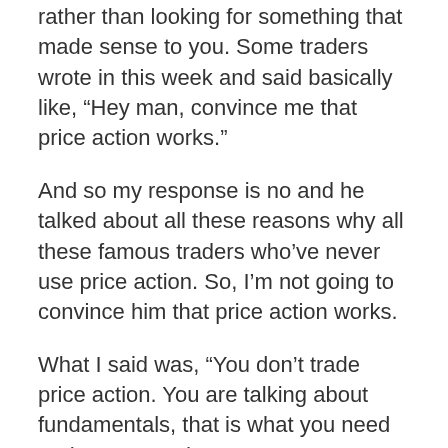rather than looking for something that made sense to you. Some traders wrote in this week and said basically like, “Hey man, convince me that price action works.”
And so my response is no and he talked about all these reasons why all these famous traders who’ve never use price action. So, I’m not going to convince him that price action works.
What I said was, “You don’t trade price action. You are talking about fundamentals, that is what you need to do. You need to marry your thoughts” — which was quite clear in his email. — His thoughts were that all of the really great traders used fundamental analysis to make money. So why would I send